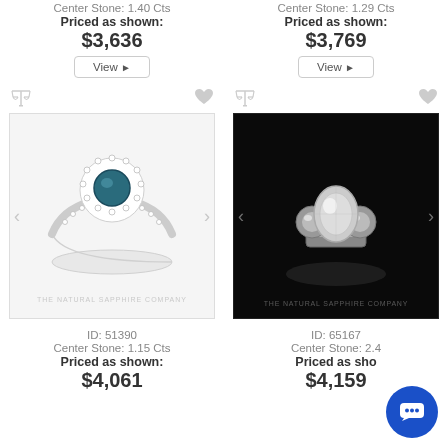Center Stone: 1.40 Cts
Priced as shown:
$3,636
View
Center Stone: 1.29 Cts
Priced as shown:
$3,769
View
[Figure (photo): Ring with blue sapphire center stone surrounded by diamond halo, set in white gold with diamond-paved band. Watermark: THE NATURAL SAPPHIRE COMPANY]
ID: 51390
Center Stone: 1.15 Cts
Priced as shown:
$4,061
[Figure (photo): Three-stone ring with oval center diamond and two round side diamonds on dark background. Watermark: THE NATURAL SAPPHIRE COMPANY]
ID: 65167
Center Stone: 2.4...
Priced as sho...
$4,159